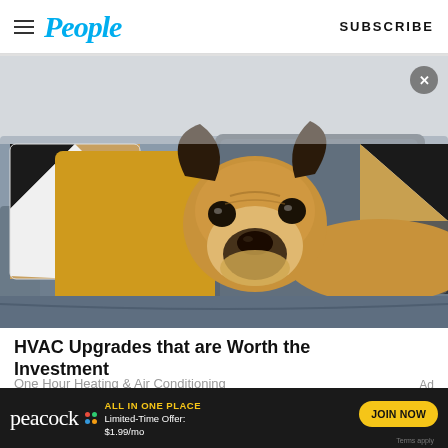People | SUBSCRIBE
[Figure (photo): French bulldog lounging on a gray sofa with yellow, dark gray, and black-and-white geometric patterned pillows]
HVAC Upgrades that are Worth the Investment
One Hour Heating & Air Conditioning
Ad
[Figure (screenshot): Peacock streaming service advertisement banner: ALL IN ONE PLACE, Limited-Time Offer: $1.99/mo, JOIN NOW button, Terms apply]